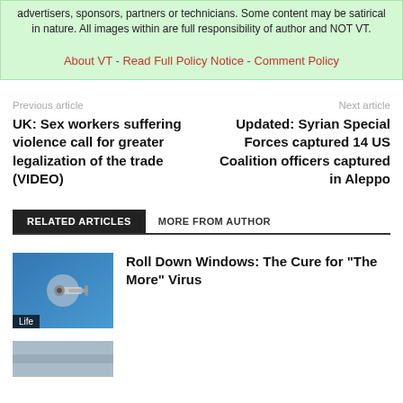advertisers, sponsors, partners or technicians. Some content may be satirical in nature. All images within are full responsibility of author and NOT VT.
About VT - Read Full Policy Notice - Comment Policy
Previous article
Next article
UK: Sex workers suffering violence call for greater legalization of the trade (VIDEO)
Updated: Syrian Special Forces captured 14 US Coalition officers captured in Aleppo
RELATED ARTICLES   MORE FROM AUTHOR
[Figure (photo): Blue background with a mechanical bolt/screw device, labeled Life]
Roll Down Windows: The Cure for “The More” Virus
[Figure (photo): Partially visible image at bottom of page]